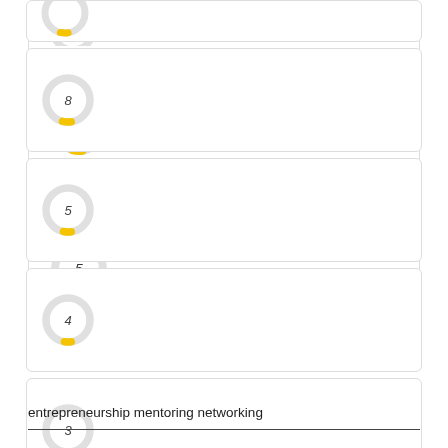[Figure (donut-chart): Partial donut chart showing a small yellow arc on gray ring, center label cut off at top]
[Figure (donut-chart): Partial donut chart with small yellow arc on gray ring, center label: 8]
[Figure (donut-chart): Partial donut chart with small yellow arc on gray ring, center label: 5]
[Figure (donut-chart): Partial donut chart with small yellow arc on gray ring, center label: 4]
[Figure (donut-chart): Partial donut chart with small yellow arc on gray ring, center label: 3]
entrepreneurship mentoring networking